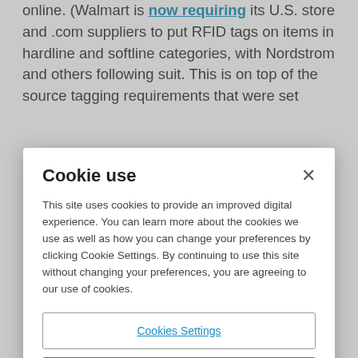online. (Walmart is now requiring its U.S. store and .com suppliers to put RFID tags on items in hardline and softline categories, with Nordstrom and others following suit. This is on top of the source tagging requirements that were set
Cookie use
This site uses cookies to provide an improved digital experience. You can learn more about the cookies we use as well as how you can change your preferences by clicking Cookie Settings. By continuing to use this site without changing your preferences, you are agreeing to our use of cookies.
Cookies Settings
Reject All
Accept Cookies